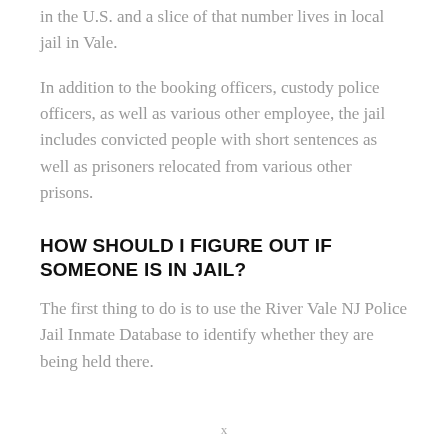in the U.S. and a slice of that number lives in local jail in Vale.
In addition to the booking officers, custody police officers, as well as various other employee, the jail includes convicted people with short sentences as well as prisoners relocated from various other prisons.
HOW SHOULD I FIGURE OUT IF SOMEONE IS IN JAIL?
The first thing to do is to use the River Vale NJ Police Jail Inmate Database to identify whether they are being held there.
x